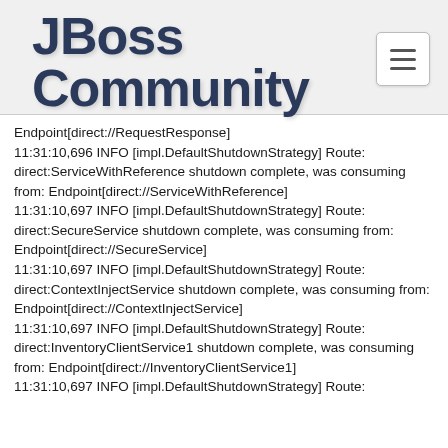JBoss Community
Endpoint[direct://RequestResponse]
11:31:10,696 INFO [impl.DefaultShutdownStrategy] Route: direct:ServiceWithReference shutdown complete, was consuming from: Endpoint[direct://ServiceWithReference]
11:31:10,697 INFO [impl.DefaultShutdownStrategy] Route: direct:SecureService shutdown complete, was consuming from: Endpoint[direct://SecureService]
11:31:10,697 INFO [impl.DefaultShutdownStrategy] Route: direct:ContextInjectService shutdown complete, was consuming from: Endpoint[direct://ContextInjectService]
11:31:10,697 INFO [impl.DefaultShutdownStrategy] Route: direct:InventoryClientService1 shutdown complete, was consuming from: Endpoint[direct://InventoryClientService1]
11:31:10,697 INFO [impl.DefaultShutdownStrategy] Route: